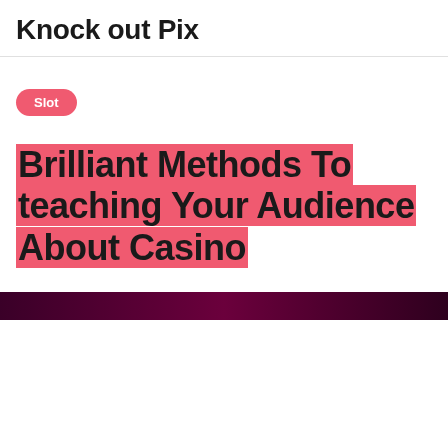Knock out Pix
Slot
Brilliant Methods To teaching Your Audience About Casino
[Figure (photo): Dark purple/maroon background image partially visible at the bottom of the page]